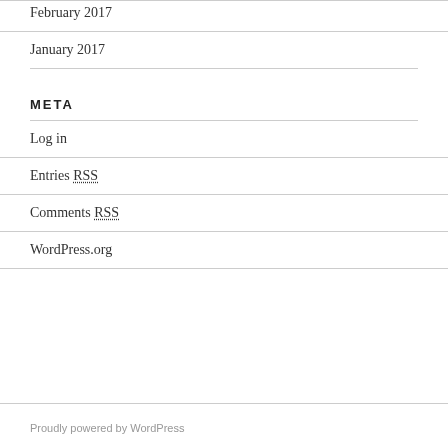February 2017
January 2017
META
Log in
Entries RSS
Comments RSS
WordPress.org
Proudly powered by WordPress